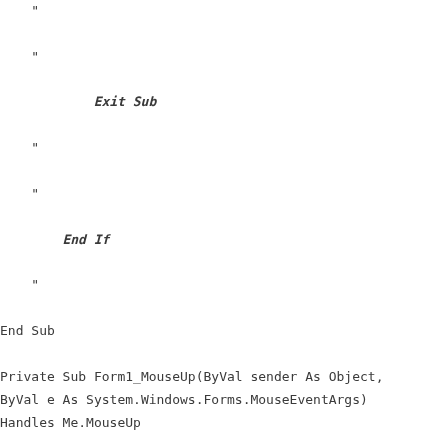"
"
Exit Sub
"
"
End If
"
End Sub
Private Sub Form1_MouseUp(ByVal sender As Object, ByVal e As System.Windows.Forms.MouseEventArgs) Handles Me.MouseUp
"